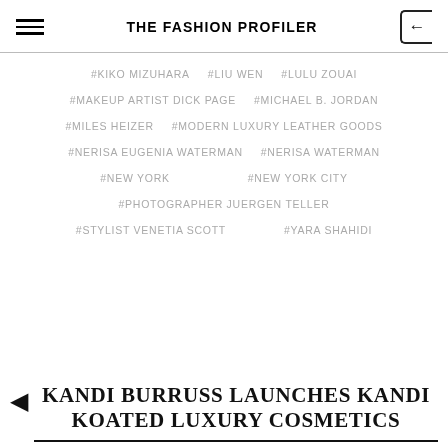THE FASHION PROFILER
#KIKO MIZUHARA   #LIU WEN   #LULU ZOUAI
#MAKEUP ARTIST DICK PAGE   #MICHAEL B. JORDAN
#MILES HEIZER   #MODERN LUXURY LEATHER GOODS
#NERISA EUGENIA WATERMAN   #NERISA WATERMAN
#NEW YORK   #NEW YORK CITY
#PHOTOGRAPHER JUERGEN TELLER
#STYLIST VENETIA SCOTT   #YARA SHAHIDI
KANDI BURRUSS LAUNCHES KANDI KOATED LUXURY COSMETICS COLLECTION